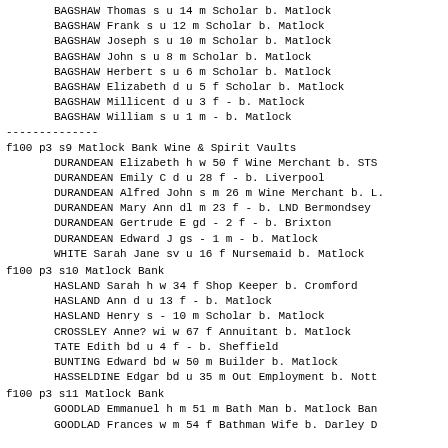BAGSHAW Thomas s u 14 m Scholar b. Matlock
BAGSHAW Frank s u 12 m Scholar b. Matlock
BAGSHAW Joseph s u 10 m Scholar b. Matlock
BAGSHAW John s u 8 m Scholar b. Matlock
BAGSHAW Herbert s u 6 m Scholar b. Matlock
BAGSHAW Elizabeth d u 5 f Scholar b. Matlock
BAGSHAW Millicent d u 3 f - b. Matlock
BAGSHAW William s u 1 m - b. Matlock
--------------
f100 p3 s9       Matlock Bank Wine & Spirit Vaults
DURANDEAN Elizabeth h w 50 f Wine Merchant b. STS
DURANDEAN Emily C d u 28 f - b. Liverpool
DURANDEAN Alfred John s m 26 m Wine Merchant b. L.
DURANDEAN Mary Ann dl m 23 f - b. LND Bermondsey
DURANDEAN Gertrude E gd - 2 f - b. Brixton
DURANDEAN Edward J gs - 1 m - b. Matlock
WHITE Sarah Jane sv u 16 f Nursemaid b. Matlock
f100 p3 s10      Matlock Bank
HASLAND Sarah h w 34 f Shop Keeper b. Cromford
HASLAND Ann d u 13 f - b. Matlock
HASLAND Henry s - 10 m Scholar b. Matlock
CROSSLEY Anne? wi w 67 f Annuitant b. Matlock
TATE Edith bd u 4 f - b. Sheffield
BUNTING Edward bd w 50 m Builder b. Matlock
HASSELDINE Edgar bd u 35 m Out Employment b. Nott
f100 p3 s11      Matlock Bank
GOODLAD Emmanuel h m 51 m Bath Man b. Matlock Ban
GOODLAD Frances w m 54 f Bathman Wife b. Darley D